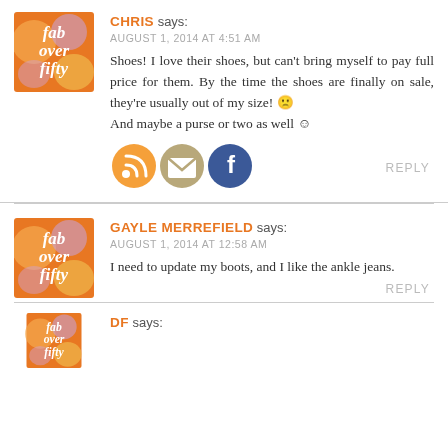[Figure (illustration): Fab Over Fifty blog logo — orange square with italic white text 'fab over fifty' on orange/yellow/lavender background]
CHRIS says: AUGUST 1, 2014 AT 4:51 AM
Shoes! I love their shoes, but can't bring myself to pay full price for them. By the time the shoes are finally on sale, they're usually out of my size! 🙁 And maybe a purse or two as well ☺
[Figure (illustration): Three circular social media icons: RSS (orange), email/envelope (tan/khaki), Facebook (dark blue)]
REPLY
[Figure (illustration): Fab Over Fifty blog logo — orange square with italic white text 'fab over fifty']
GAYLE MERREFIELD says: AUGUST 1, 2014 AT 12:58 AM
I need to update my boots, and I like the ankle jeans.
REPLY
[Figure (illustration): Partial Fab Over Fifty logo at bottom]
DF says: